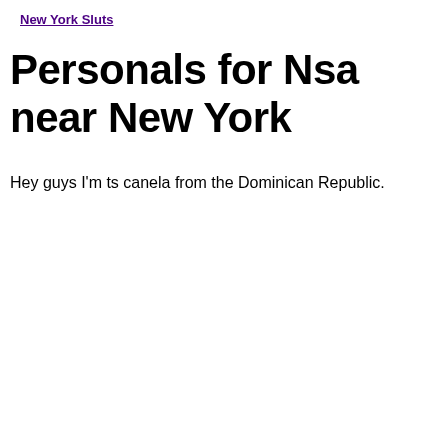New York Sluts
Personals for Nsa near New York
Hey guys I'm ts canela from the Dominican Republic.